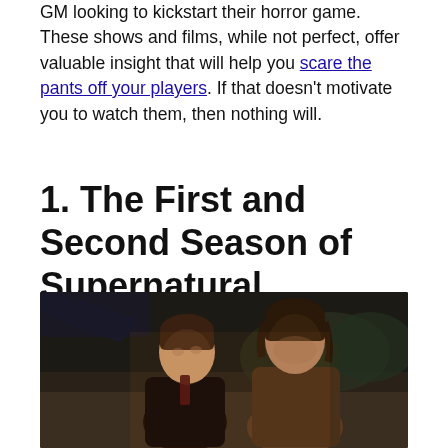GM looking to kickstart their horror game. These shows and films, while not perfect, offer valuable insight that will help you scare the pants off your players. If that doesn't motivate you to watch them, then nothing will.
1. The First and Second Season of Supernatural
[Figure (photo): Two young men (Dean and Sam Winchester from Supernatural) standing outdoors at night near a car, looking alert. Both have brown hair; one wears a dark jacket, the other a brown jacket.]